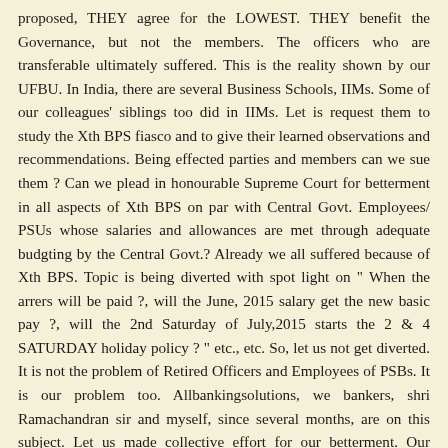proposed, THEY agree for the LOWEST. THEY benefit the Governance, but not the members. The officers who are transferable ultimately suffered. This is the reality shown by our UFBU. In India, there are several Business Schools, IIMs. Some of our colleagues' siblings too did in IIMs. Let is request them to study the Xth BPS fiasco and to give their learned observations and recommendations. Being effected parties and members can we sue them ? Can we plead in honourable Supreme Court for betterment in all aspects of Xth BPS on par with Central Govt. Employees/ PSUs whose salaries and allowances are met through adequate budgting by the Central Govt.? Already we all suffered because of Xth BPS. Topic is being diverted with spot light on " When the arrers will be paid ?, will the June, 2015 salary get the new basic pay ?, will the 2nd Saturday of July,2015 starts the 2 & 4 SATURDAY holiday policy ? " etc., etc. So, let us not get diverted. It is not the problem of Retired Officers and Employees of PSBs. It is our problem too. Allbankingsolutions, we bankers, shri Ramachandran sir and myself, since several months, are on this subject. Let us made collective effort for our betterment. Our family members deserve the best as we are rendering the best of our services in PSBs. If AIBOC is really feeling for retired Officers in PSBs, let it file suit in Supreme Court. One Rank One